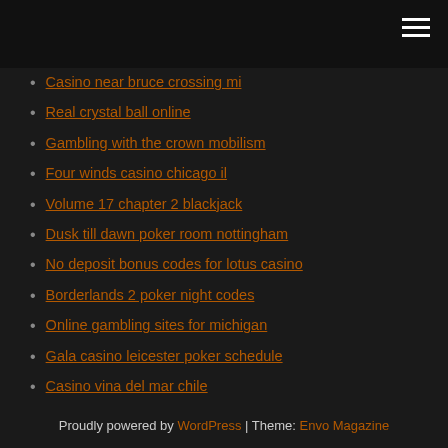Casino near bruce crossing mi
Real crystal ball online
Gambling with the crown mobilism
Four winds casino chicago il
Volume 17 chapter 2 blackjack
Dusk till dawn poker room nottingham
No deposit bonus codes for lotus casino
Borderlands 2 poker night codes
Online gambling sites for michigan
Gala casino leicester poker schedule
Casino vina del mar chile
Proudly powered by WordPress | Theme: Envo Magazine